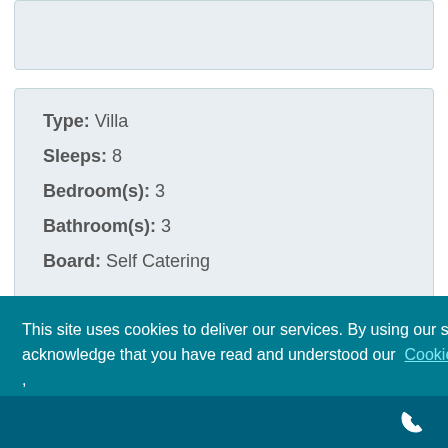Type: Villa
Sleeps: 8
Bedroom(s): 3
Bathroom(s): 3
Board: Self Catering
This site uses cookies to deliver our services. By using our site, you acknowledge that you have read and understood our Cookie Policy , Privacy Policy and our Terms and Conditions . Your use of this website is subject to these policies and terms.
Got it!